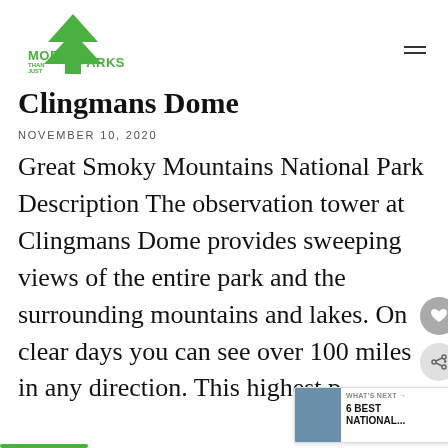[Figure (logo): More Than Just Parks logo with green tree/arrow icon and green text]
Clingmans Dome
NOVEMBER 10, 2020
Great Smoky Mountains National Park Description The observation tower at Clingmans Dome provides sweeping views of the entire park and the surrounding mountains and lakes. On clear days you can see over 100 miles in any direction. This highest p